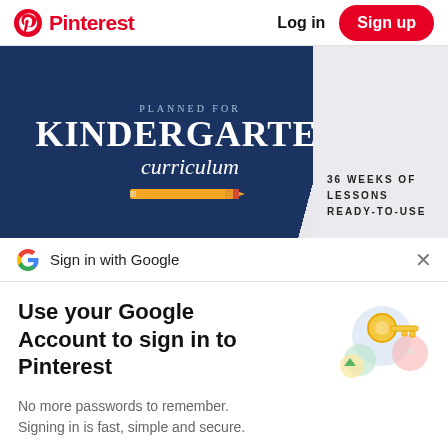Pinterest | Log in | Sign up
[Figure (photo): Book cover for 'Planned Kindergarten Curriculum' with text '36 Weeks of Lessons Ready To Use' and a pencil graphic on a dark navy blue background]
Sign in with Google
Use your Google Account to sign in to Pinterest
No more passwords to remember. Signing in is fast, simple and secure.
[Figure (illustration): Google keys and security icons illustration]
Continue